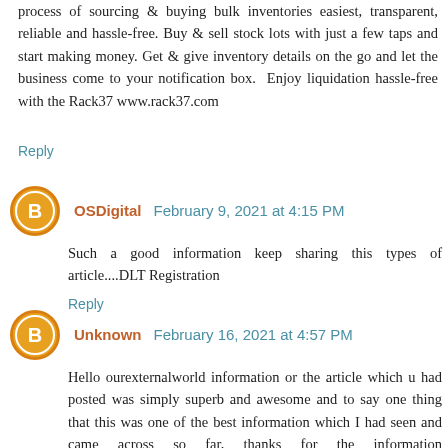process of sourcing & buying bulk inventories easiest, transparent, reliable and hassle-free. Buy & sell stock lots with just a few taps and start making money. Get & give inventory details on the go and let the business come to your notification box. Enjoy liquidation hassle-free with the Rack37 www.rack37.com
Reply
OSDigital February 9, 2021 at 4:15 PM
Such a good information keep sharing this types of article....DLT Registration
Reply
Unknown February 16, 2021 at 4:57 PM
Hello ourexternalworld information or the article which u had posted was simply superb and awesome and to say one thing that this was one of the best information which I had seen and came across so far, thanks for the information #BGLAMHAIRSTUDIO